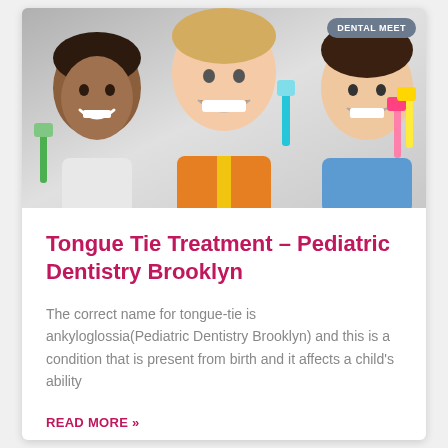[Figure (photo): Three children smiling and holding colorful toothbrushes against a light background. A badge in the top right corner reads 'DENTAL MEET'.]
Tongue Tie Treatment – Pediatric Dentistry Brooklyn
The correct name for tongue-tie is ankyloglossia(Pediatric Dentistry Brooklyn) and this is a condition that is present from birth and it affects a child's ability
READ MORE »